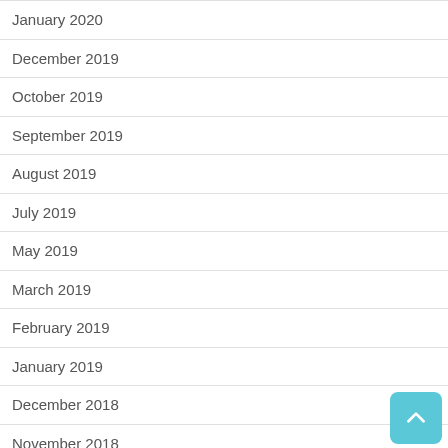January 2020
December 2019
October 2019
September 2019
August 2019
July 2019
May 2019
March 2019
February 2019
January 2019
December 2018
November 2018
October 2018
August 2018